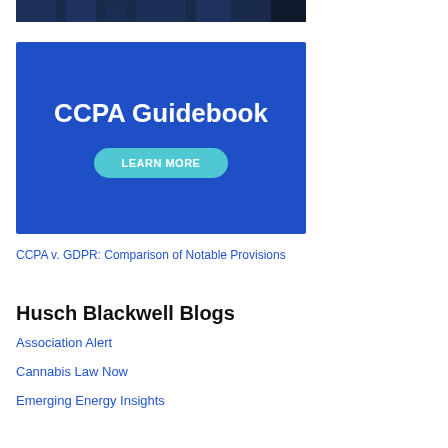[Figure (photo): Top portion of a dark blue cityscape or map image, partially cropped at top of page]
[Figure (infographic): Blue banner with white bold text 'CCPA Guidebook' and a teal rounded button 'LEARN MORE']
CCPA v. GDPR: Comparison of Notable Provisions
Husch Blackwell Blogs
Association Alert
Cannabis Law Now
Emerging Energy Insights